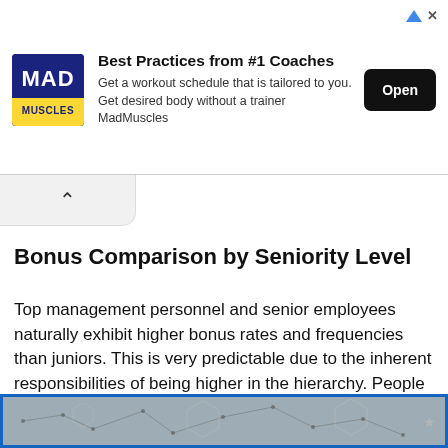[Figure (screenshot): MadMuscles app advertisement banner with logo, 'Best Practices from #1 Coaches' headline, description text, and Open button]
Bonus Comparison by Seniority Level
Top management personnel and senior employees naturally exhibit higher bonus rates and frequencies than juniors. This is very predictable due to the inherent responsibilities of being higher in the hierarchy. People in top positions can easily get double or triple bonus rates than employees down the pyramid.
[Figure (illustration): Bottom portion of a blue-bordered infographic or chart with hex/network pattern background]